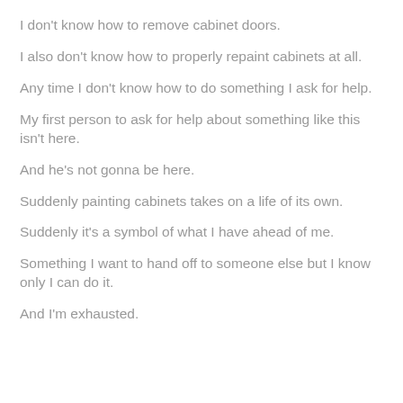I don't know how to remove cabinet doors.
I also don't know how to properly repaint cabinets at all.
Any time I don't know how to do something I ask for help.
My first person to ask for help about something like this isn't here.
And he's not gonna be here.
Suddenly painting cabinets takes on a life of its own.
Suddenly it's a symbol of what I have ahead of me.
Something I want to hand off to someone else but I know only I can do it.
And I'm exhausted.